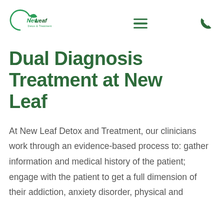[Figure (logo): New Leaf Detox & Treatment logo — green circle arc with leaf, company name in green text]
Dual Diagnosis Treatment at New Leaf
At New Leaf Detox and Treatment, our clinicians work through an evidence-based process to: gather information and medical history of the patient; engage with the patient to get a full dimension of their addiction, anxiety disorder, physical and